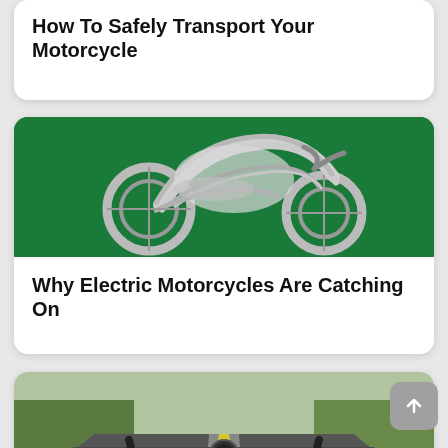How To Safely Transport Your Motorcycle
[Figure (illustration): Artistic illustration of an electric motorcycle made of cables and wires on a green background]
Why Electric Motorcycles Are Catching On
[Figure (photo): First-person perspective photo from a motorcycle rider on an open road with trees on either side]
9 Dream Motorcycle Trips To